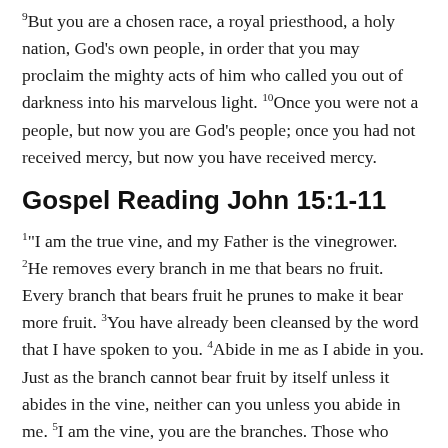9But you are a chosen race, a royal priesthood, a holy nation, God's own people, in order that you may proclaim the mighty acts of him who called you out of darkness into his marvelous light. 10Once you were not a people, but now you are God's people; once you had not received mercy, but now you have received mercy.
Gospel Reading John 15:1-11
1"I am the true vine, and my Father is the vinegrower. 2He removes every branch in me that bears no fruit. Every branch that bears fruit he prunes to make it bear more fruit. 3You have already been cleansed by the word that I have spoken to you. 4Abide in me as I abide in you. Just as the branch cannot bear fruit by itself unless it abides in the vine, neither can you unless you abide in me. 5I am the vine, you are the branches. Those who abide in me and I in them bear much fruit, because apart